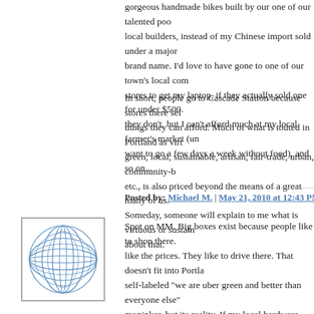gorgeous handmade bikes built by our one of our talented pool of local builders, instead of my Chinese import sold under a major brand name. I'd love to have gone to one of our town's local computer stores to get my laptop, if they actually sold one for under $500. But they don't, but I can't afford much at my local farmer's market (unless I want to go a few days a week without food), and so on...
In short, people go to Cascade Station because stores there sell things they can afford. Much of what is touted in Portland as virtuous: green, local, sustainable, artisan, fair-trade, urban, community-based, etc., is also priced beyond the means of a great many of us. Someday, someone will explain to me what is virtuous or sustainable about that.
Posted by: Michael M. | May 21, 2010 at 12:43 PM
[Figure (illustration): Avatar image with blue geometric/globe pattern on white background, square with border]
Spot on MM. Big boxes exist because people like to shop there. They like the prices. They like to drive there. That doesn't fit into Portland's self-labeled "we are uber green and better than everyone else" moninker, but its reality. If my local hardware store was open on tuesday night at 9pm when I need something, I'd go there. But it's not, so I have to drive out to Home Depot out by the airport, and burn gas and create emissions doing so. To the planner and activist types, somehow that's better than allowing one to be built near where...